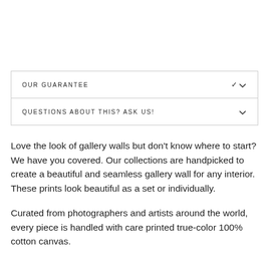OUR GUARANTEE
QUESTIONS ABOUT THIS? ASK US!
Love the look of gallery walls but don't know where to start? We have you covered. Our collections are handpicked to create a beautiful and seamless gallery wall for any interior. These prints look beautiful as a set or individually.
Curated from photographers and artists around the world, every piece is handled with care printed true-color 100% cotton canvas.